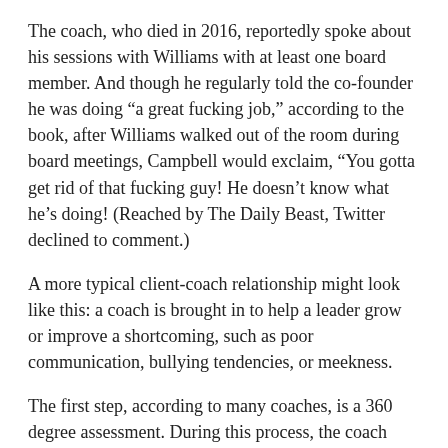The coach, who died in 2016, reportedly spoke about his sessions with Williams with at least one board member. And though he regularly told the co-founder he was doing “a great fucking job,” according to the book, after Williams walked out of the room during board meetings, Campbell would exclaim, “You gotta get rid of that fucking guy! He doesn’t know what he’s doing! (Reached by The Daily Beast, Twitter declined to comment.)
A more typical client-coach relationship might look like this: a coach is brought in to help a leader grow or improve a shortcoming, such as poor communication, bullying tendencies, or meekness.
The first step, according to many coaches, is a 360 degree assessment. During this process, the coach may attend executive meetings and client calls, and will interview 10+ peers and subordinates to gather a full picture of their mannerisms and abilities.